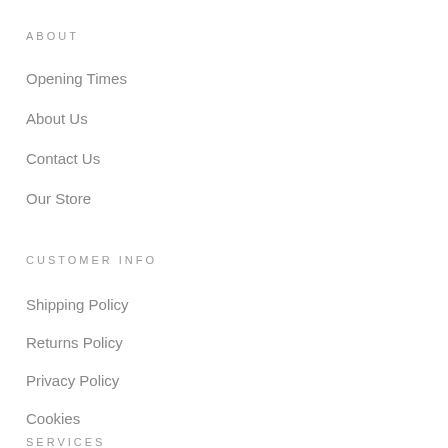ABOUT
Opening Times
About Us
Contact Us
Our Store
CUSTOMER INFO
Shipping Policy
Returns Policy
Privacy Policy
Cookies
SERVICES